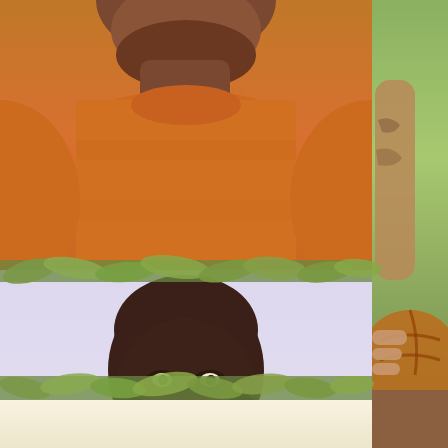[Figure (photo): Collage of three photos: top-left shows a man from chin down wearing an orange basketball shirt; top-right and right side shows a person holding a basketball with tattoos visible; center shows a headshot of a bald Black man with a full beard wearing an orange shirt, photographed against a light purple/white studio background; bottom area has a cream/beige color strip with leaf decorations at the borders between images.]